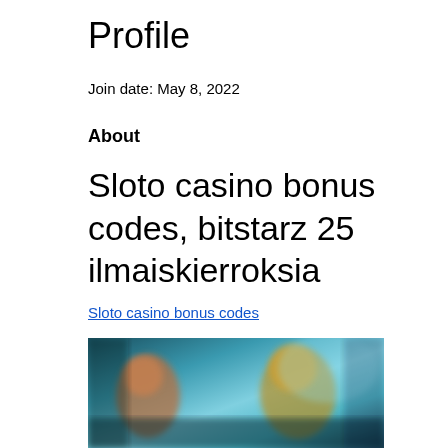Profile
Join date: May 8, 2022
About
Sloto casino bonus codes, bitstarz 25 ilmaiskierroksia
Sloto casino bonus codes
[Figure (photo): Blurred casino-themed promotional image with colorful characters and teal/blue background]